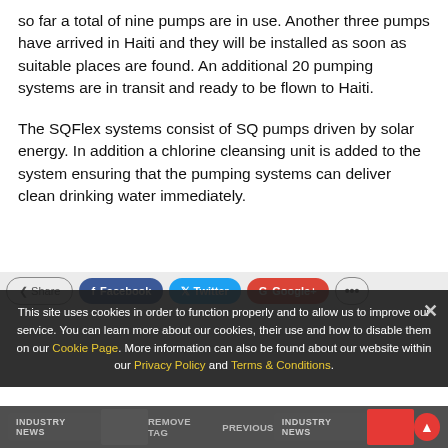so far a total of nine pumps are in use. Another three pumps have arrived in Haiti and they will be installed as soon as suitable places are found. An additional 20 pumping systems are in transit and ready to be flown to Haiti.
The SQFlex systems consist of SQ pumps driven by solar energy. In addition a chlorine cleansing unit is added to the system ensuring that the pumping systems can deliver clean drinking water immediately.
This site uses cookies in order to function properly and to allow us to improve our service. You can learn more about our cookies, their use and how to disable them on our Cookie Page. More information can also be found about our website within our Privacy Policy and Terms & Conditions.